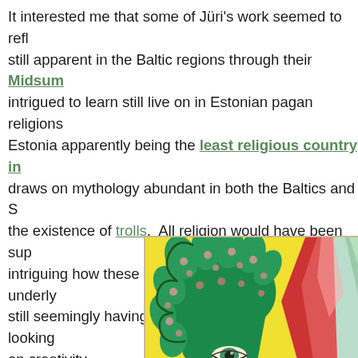It interested me that some of Jüri's work seemed to reflect ancient beliefs still apparent in the Baltic regions through their Midsummer celebrations, intrigued to learn still live on in Estonian pagan religions... Estonia apparently being the least religious country in... draws on mythology abundant in both the Baltics and S... the existence of trolls. All religion would have been sup... intriguing how these ancient belief systems and underly... still seemingly having a subtle (or not so subtle, looking... on creativity.
[Figure (photo): A colorful painting featuring large green leaf-like or organic shapes with pink spots against a bright yellow background, with red and white flame-like forms on the right side, and what appears to be an eye visible at the bottom.]